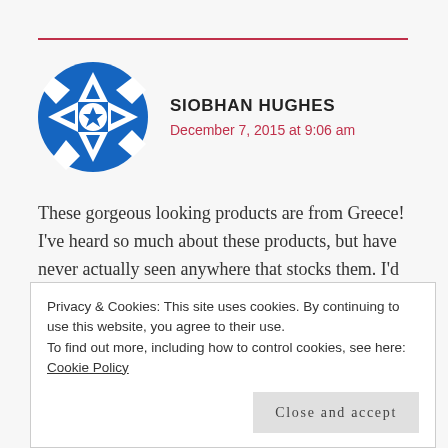[Figure (illustration): Round blue avatar with white geometric quilt/snowflake pattern]
SIOBHAN HUGHES
December 7, 2015 at 9:06 am
These gorgeous looking products are from Greece! I've heard so much about these products, but have never actually seen anywhere that stocks them. I'd love to try them!
REPLY
Privacy & Cookies: This site uses cookies. By continuing to use this website, you agree to their use.
To find out more, including how to control cookies, see here: Cookie Policy
Close and accept